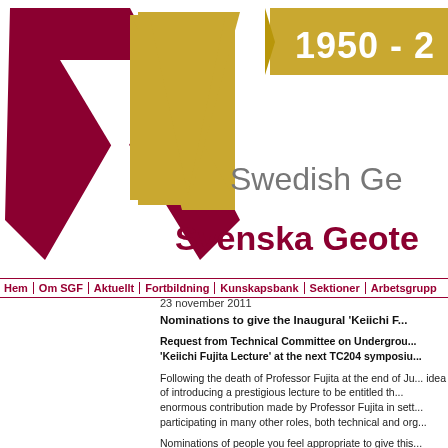[Figure (logo): Swedish Geotechnical Society (SGF) logo with dark red chevron/triangle shapes and gold triangle, with text 'Swedish Ge...' and 'Svenska Geote...' and '1950 - 20...' banner]
Hem | Om SGF | Aktuellt | Fortbildning | Kunskapsbank | Sektioner | Arbetsgrupp...
23 november 2011
Nominations to give the Inaugural 'Keiichi F...
Request from Technical Committee on Undergrou... 'Keiichi Fujita Lecture' at the next TC204 symposiu...
Following the death of Professor Fujita at the end of Ju... idea of introducing a prestigious lecture to be entitled th... enormous contribution made by Professor Fujita in sett... participating in many other roles, both technical and org...
Nominations of people you feel appropriate to give this... construction in soft ground and who can deliver a good... person nominated (support letters are optional). The fi... sub-committee.
The attached document contains a tribute to Professo...